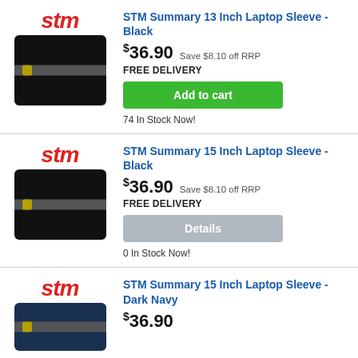[Figure (photo): STM logo (red italic) above a black laptop sleeve product image with grey zipper band and gold zipper pull]
STM Summary 13 Inch Laptop Sleeve - Black
$36.90 Save $8.10 off RRP
FREE DELIVERY
Add to cart
74 In Stock Now!
[Figure (photo): STM logo (red italic) above a black laptop sleeve product image with grey zipper band and gold zipper pull]
STM Summary 15 Inch Laptop Sleeve - Black
$36.90 Save $8.10 off RRP
FREE DELIVERY
Details
0 In Stock Now!
[Figure (photo): STM logo (red italic) above a dark navy laptop sleeve product image]
STM Summary 15 Inch Laptop Sleeve - Dark Navy
$36.90